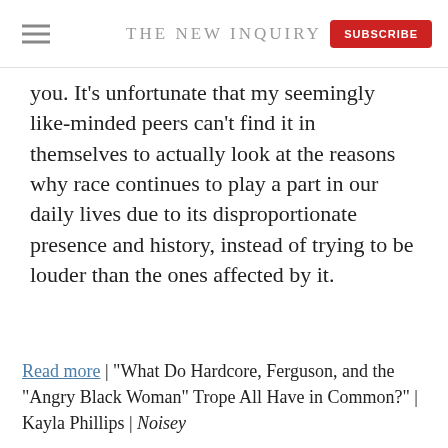THE NEW INQUIRY
you. It's unfortunate that my seemingly like-minded peers can't find it in themselves to actually look at the reasons why race continues to play a part in our daily lives due to its disproportionate presence and history, instead of trying to be louder than the ones affected by it.
Read more | "What Do Hardcore, Ferguson, and the "Angry Black Woman" Trope All Have in Common?" | Kayla Phillips | Noisey